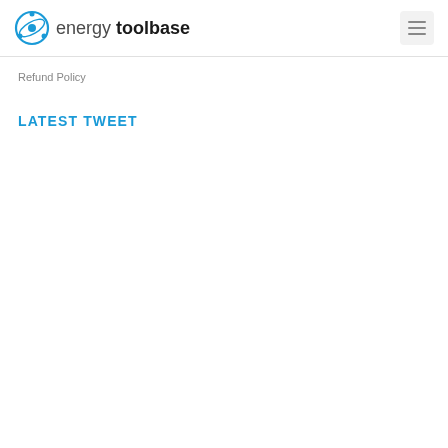energy toolbase
Refund Policy
LATEST TWEET